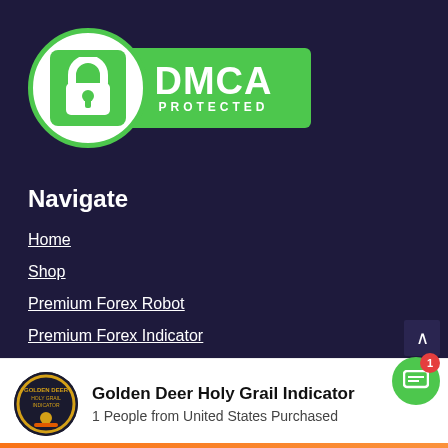[Figure (logo): DMCA Protected badge with green padlock icon in white circle and green rectangle with DMCA PROTECTED text]
Navigate
Home
Shop
Premium Forex Robot
Premium Forex Indicator
[Figure (logo): Golden Deer Holy Grail Indicator logo circle]
Golden Deer Holy Grail Indicator
1 People from United States Purchased